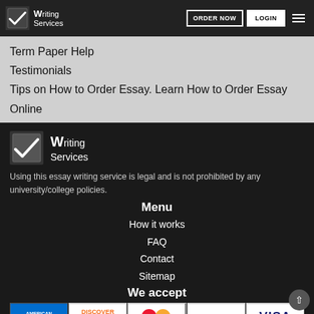Writing Services — ORDER NOW | LOGIN
Term Paper Help
Testimonials
Tips on How to Order Essay. Learn How to Order Essay Online
[Figure (logo): Writing Services logo with checkmark icon, white text on dark background]
Using this essay writing service is legal and is not prohibited by any university/college policies.
Menu
How it works
FAQ
Contact
Sitemap
We accept
[Figure (other): Payment icons: American Express, Discover, MasterCard, PayPal, Visa]